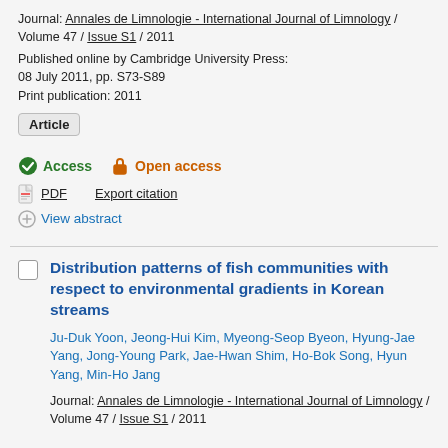Journal: Annales de Limnologie - International Journal of Limnology / Volume 47 / Issue S1 / 2011
Published online by Cambridge University Press: 08 July 2011, pp. S73-S89
Print publication: 2011
Article
Access   Open access
PDF   Export citation
+ View abstract
Distribution patterns of fish communities with respect to environmental gradients in Korean streams
Ju-Duk Yoon, Jeong-Hui Kim, Myeong-Seop Byeon, Hyung-Jae Yang, Jong-Young Park, Jae-Hwan Shim, Ho-Bok Song, Hyun Yang, Min-Ho Jang
Journal: Annales de Limnologie - International Journal of Limnology / Volume 47 / Issue S1 / 2011